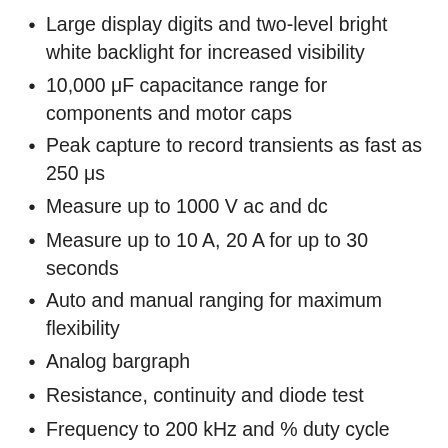Large display digits and two-level bright white backlight for increased visibility
10,000 μF capacitance range for components and motor caps
Peak capture to record transients as fast as 250 μs
Measure up to 1000 V ac and dc
Measure up to 10 A, 20 A for up to 30 seconds
Auto and manual ranging for maximum flexibility
Analog bargraph
Resistance, continuity and diode test
Frequency to 200 kHz and % duty cycle
Min/Max and average recording to capture variations automatically
Relative mode to remove test lead resistance from low ohms measurements
Improved sleep mode for long battery life